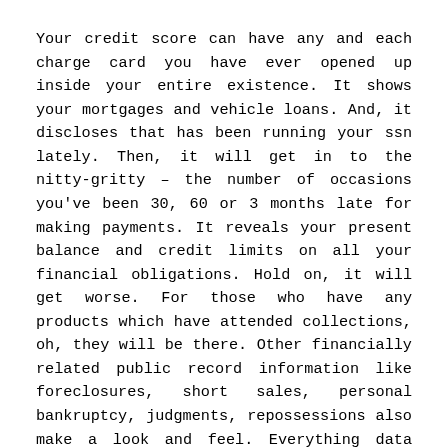Your credit score can have any and each charge card you have ever opened up inside your entire existence. It shows your mortgages and vehicle loans. And, it discloses that has been running your ssn lately. Then, it will get in to the nitty-gritty – the number of occasions you've been 30, 60 or 3 months late for making payments. It reveals your present balance and credit limits on all your financial obligations. Hold on, it will get worse. For those who have any products which have attended collections, oh, they will be there. Other financially related public record information like foreclosures, short sales, personal bankruptcy, judgments, repossessions also make a look and feel. Everything data swirls, slides, twists and turns with the credit bureaus' secret algorithms that ultimately goes your credit ratings.
While each one of the credit agencies, Experian, Equifax and Transunion, includes a slightly different range, a fico score